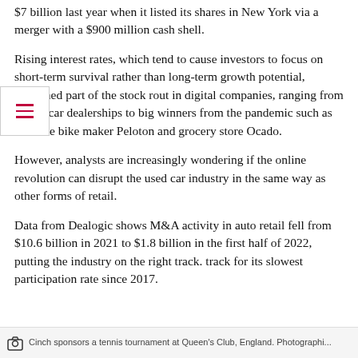$7 billion last year when it listed its shares in New York via a merger with a $900 million cash shell.
Rising interest rates, which tend to cause investors to focus on short-term survival rather than long-term growth potential, explained part of the stock rout in digital companies, ranging from online car dealerships to big winners from the pandemic such as exercise bike maker Peloton and grocery store Ocado.
However, analysts are increasingly wondering if the online revolution can disrupt the used car industry in the same way as other forms of retail.
Data from Dealogic shows M&A activity in auto retail fell from $10.6 billion in 2021 to $1.8 billion in the first half of 2022, putting the industry on the right track. track for its slowest participation rate since 2017.
Cinch sponsors a tennis tournament at Queen's Club, England. Photographi...